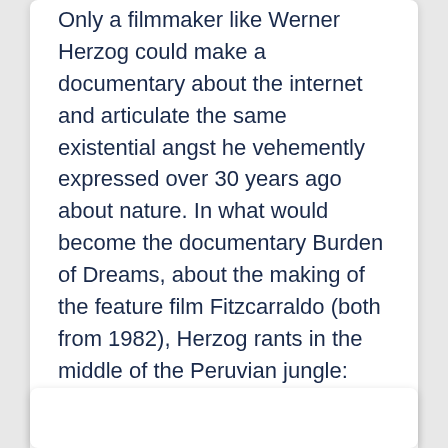Only a filmmaker like Werner Herzog could make a documentary about the internet and articulate the same existential angst he vehemently expressed over 30 years ago about nature. In what would become the documentary Burden of Dreams, about the making of the feature film Fitzcarraldo (both from 1982), Herzog rants in the middle of the Peruvian jungle: "Nature here is vile and base [...] The trees here are in misery, and the birds are in misery. I don't think they sing, they just screech in pain."
Read More »